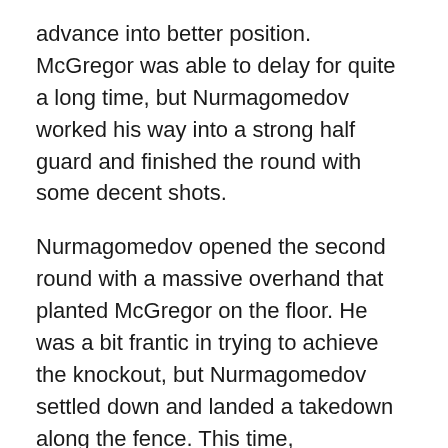advance into better position. McGregor was able to delay for quite a long time, but Nurmagomedov worked his way into a strong half guard and finished the round with some decent shots.
Nurmagomedov opened the second round with a massive overhand that planted McGregor on the floor. He was a bit frantic in trying to achieve the knockout, but Nurmagomedov settled down and landed a takedown along the fence. This time, Nurmagomedov settled into guard and went to work. McGregor mostly just held on his back.
Nurmagomedov picked openings and landed huge blows. Quickly, Nurmagomedov was standing above McGregor and dropping hard shots, which was some real damage. McGregor took the shots and kept going, he even stood up in the final seconds of the round.